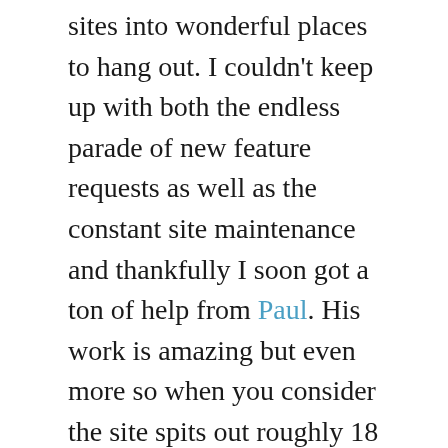sites into wonderful places to hang out. I couldn't keep up with both the endless parade of new feature requests as well as the constant site maintenance and thankfully I soon got a ton of help from Paul. His work is amazing but even more so when you consider the site spits out roughly 18 million pages to 9 million people a month using ColdFusion and just three servers (one web server, one database server, and one just for images and other static files). Paul has re-engineered the entire codebase to the point where I can barely understand what makes some features on the site actually function. Josh became the third employee when he, like Jessamyn, was doing a better job than me explaining things on the site but he was also doing it faster than I ever could. Josh also alleviates the monster workload Jessamyn and I were working under trying to moderate